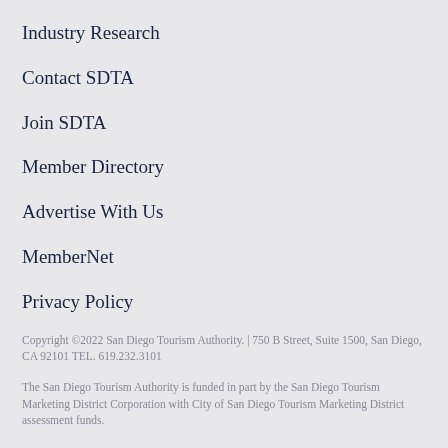Industry Research
Contact SDTA
Join SDTA
Member Directory
Advertise With Us
MemberNet
Privacy Policy
Copyright ©2022 San Diego Tourism Authority. | 750 B Street, Suite 1500, San Diego, CA 92101 TEL. 619.232.3101
The San Diego Tourism Authority is funded in part by the San Diego Tourism Marketing District Corporation with City of San Diego Tourism Marketing District assessment funds.